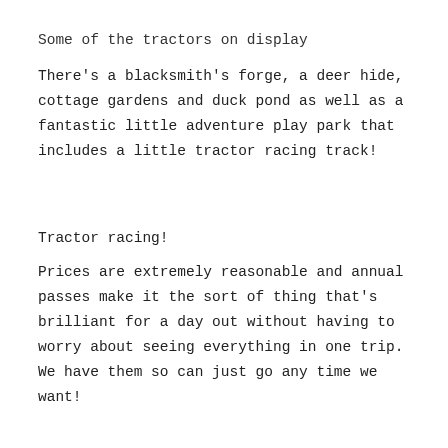Some of the tractors on display
There's a blacksmith's forge, a deer hide, cottage gardens and duck pond as well as a fantastic little adventure play park that includes a little tractor racing track!
Tractor racing!
Prices are extremely reasonable and annual passes make it the sort of thing that's brilliant for a day out without having to worry about seeing everything in one trip. We have them so can just go any time we want!
Despite the focus on history the farm is extremely progressive with its facilities with disabled ramps nearly everywhere so almost everything is accessible.